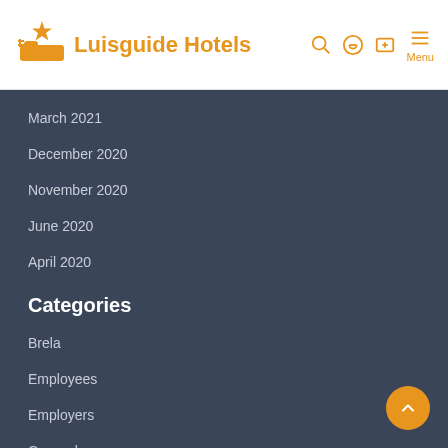Luisguide Hotels
March 2021
December 2020
November 2020
June 2020
April 2020
Categories
Brela
Employees
Employers
General